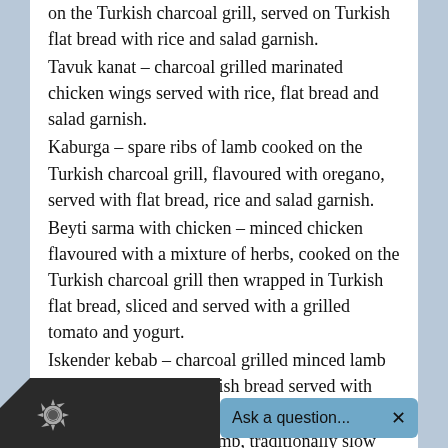... – marinated fillet of chicken, cooked on the Turkish charcoal grill, served on Turkish flat bread with rice and salad garnish.
Tavuk kanat – charcoal grilled marinated chicken wings served with rice, flat bread and salad garnish.
Kaburga – spare ribs of lamb cooked on the Turkish charcoal grill, flavoured with oregano, served with flat bread, rice and salad garnish.
Beyti sarma with chicken – minced chicken flavoured with a mixture of herbs, cooked on the Turkish charcoal grill then wrapped in Turkish flat bread, sliced and served with a grilled tomato and yogurt.
Iskender kebab – charcoal grilled minced lamb placed on a bed of Turkish bread served with yogurt and drizzled with hot butter sauce.
Kuzu incik – hock of lamb, traditionally slow cooked in a special sauce with...